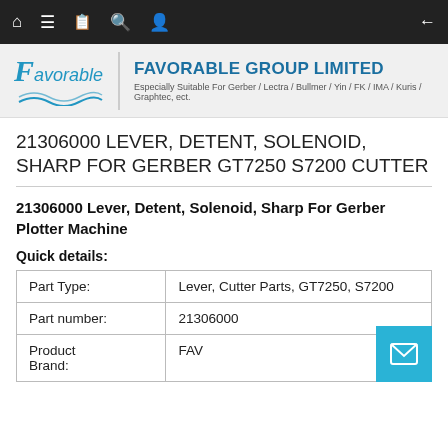Navigation bar with icons
[Figure (logo): Favorable Group Limited logo with stylized F and wave marks]
21306000 LEVER, DETENT, SOLENOID, SHARP FOR GERBER GT7250 S7200 CUTTER
21306000 Lever, Detent, Solenoid, Sharp For Gerber Plotter Machine
Quick details:
| Part Type: | Lever, Cutter Parts, GT7250, S7200 |
| Part number: | 21306000 |
| Product Brand: | FAV |